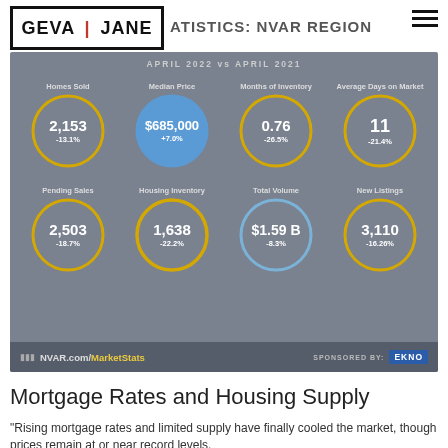[Figure (infographic): Real estate market statistics infographic for NVAR region comparing April 2022 vs April 2021. Eight circular metrics: Homes Sold 2,153 (-13.1%), Median Price $685,000 (+7.0%), Months of Inventory 0.76 (-26.5%), Average Days on Market 11 (-21.4%), Pending Sales 2,503 (-18.7%), Housing Inventory 1,638 (-22.2%), Total Volume $1.59B (-8.3%), New Listings 3,110 (-16.26%).]
Mortgage Rates and Housing Supply
"Rising mortgage rates and limited supply have finally cooled the market, though prices remain at or near record levels."